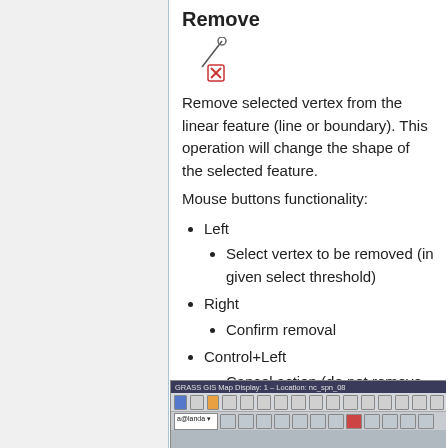Remove
[Figure (illustration): Icon showing a vertex remove tool: a line with a circle vertex and a red X square symbol below it]
Remove selected vertex from the linear feature (line or boundary). This operation will change the shape of the selected feature.
Mouse buttons functionality:
Left
Select vertex to be removed (in given select threshold)
Right
Confirm removal
Control+Left
Cancel action (do not remove vertex)
[Figure (screenshot): GRASS GIS Map Display window screenshot showing toolbars with various GIS editing buttons and a layer selector dropdown showing 'a@landa']